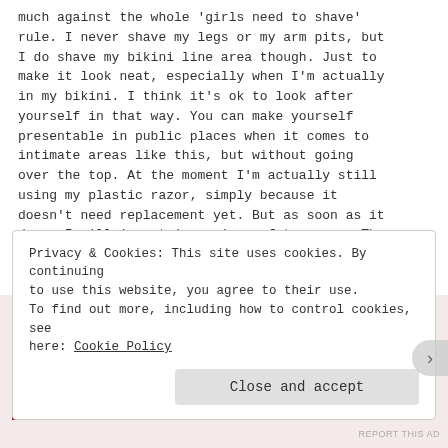much against the whole 'girls need to shave' rule. I never shave my legs or my arm pits, but I do shave my bikini line area though. Just to make it look neat, especially when I'm actually in my bikini. I think it's ok to look after yourself in that way. You can make yourself presentable in public places when it comes to intimate areas like this, but without going over the top. At the moment I'm actually still using my plastic razor, simply because it doesn't need replacement yet. But as soon as it does, I will invest in a nice safety razor. The one on the picture is from my sister-in-law, who is very happy with hers. Did you invest in
Privacy & Cookies: This site uses cookies. By continuing to use this website, you agree to their use.
To find out more, including how to control cookies, see here: Cookie Policy
Close and accept
REPORT THIS AD